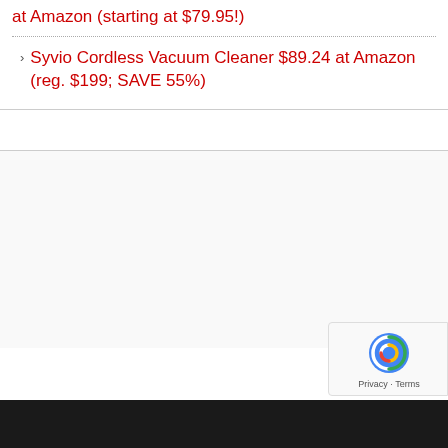at Amazon (starting at $79.95!)
Syvio Cordless Vacuum Cleaner $89.24 at Amazon (reg. $199; SAVE 55%)
[Figure (other): White blank content area below list items]
[Figure (other): reCAPTCHA privacy badge in bottom right corner]
Privacy · Terms